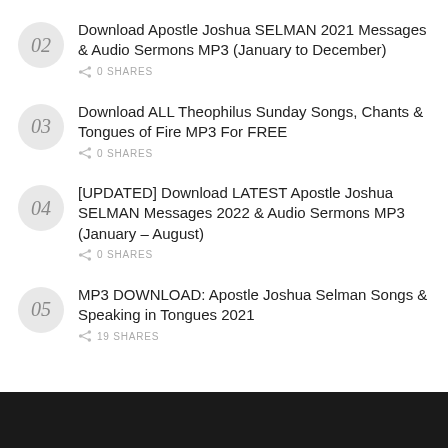02 Download Apostle Joshua SELMAN 2021 Messages & Audio Sermons MP3 (January to December)
0 SHARES
03 Download ALL Theophilus Sunday Songs, Chants & Tongues of Fire MP3 For FREE
0 SHARES
04 [UPDATED] Download LATEST Apostle Joshua SELMAN Messages 2022 & Audio Sermons MP3 (January – August)
0 SHARES
05 MP3 DOWNLOAD: Apostle Joshua Selman Songs & Speaking in Tongues 2021
19 SHARES